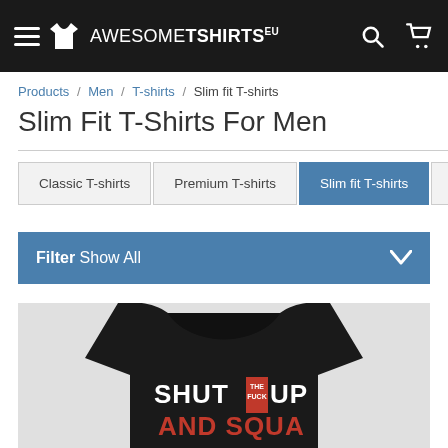AWESOMETSHIRTS EU
Products / Men / T-shirts / Slim fit T-shirts
Slim Fit T-Shirts For Men
Classic T-shirts | Premium T-shirts | Slim fit T-shirts
Filter  Show All
[Figure (photo): Black slim fit t-shirt with text 'SHUT THE FUCK UP AND SQUAT' printed on front. White and red text on black shirt.]